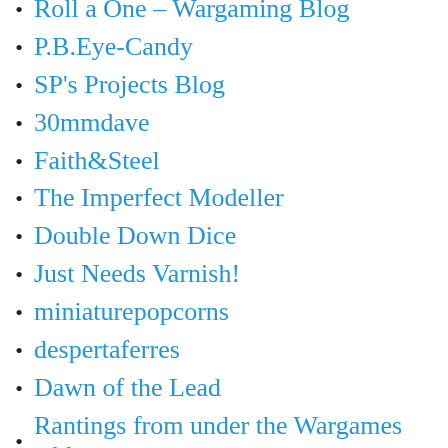Roll a One – Wargaming Blog
P.B.Eye-Candy
SP's Projects Blog
30mmdave
Faith&Steel
The Imperfect Modeller
Double Down Dice
Just Needs Varnish!
miniaturepopcorns
despertaferres
Dawn of the Lead
Rantings from under the Wargames table
Simple as WaR
The Vibe
Buck's Blog
IRO aka Imperial Rebel Ork
Azazel's Bitz Box